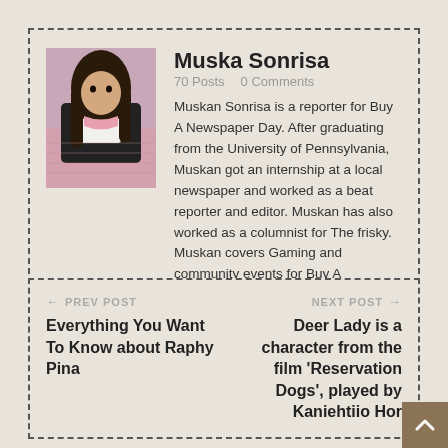[Figure (photo): Profile photo of Muska Sonrisa — a person with dark hair wearing black and pink clothing, shown from torso up against a pink knitted background]
Muska Sonrisa   70 Posts   0 Comments
Muskan Sonrisa is a reporter for Buy A Newspaper Day. After graduating from the University of Pennsylvania, Muskan got an internship at a local newspaper and worked as a beat reporter and editor. Muskan has also worked as a columnist for The frisky. Muskan covers Gaming and community events for Buy A Newspaper Day.
← PREV POST
Everything You Want To Know about Raphy Pina
NEXT POST →
Deer Lady is a character from the film 'Reservation Dogs', played by Kaniehtiio Horn